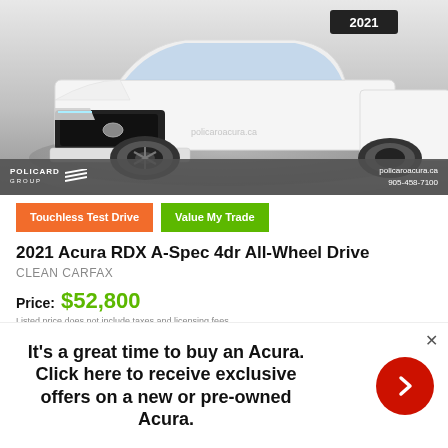[Figure (photo): White 2021 Acura RDX A-Spec SUV front view on a circular platform in a showroom. Dealer bar at the bottom shows 'POLICARD GROUP' logo and 'policaroacura.ca 905-458-7100'. Year badge '2021' on windshield.]
Touchless Test Drive
Value My Trade
2021 Acura RDX A-Spec 4dr All-Wheel Drive
CLEAN CARFAX
Price: $52,800
Listed price does not include taxes and licensing fees.
It's a great time to buy an Acura. Click here to receive exclusive offers on a new or pre-owned Acura.